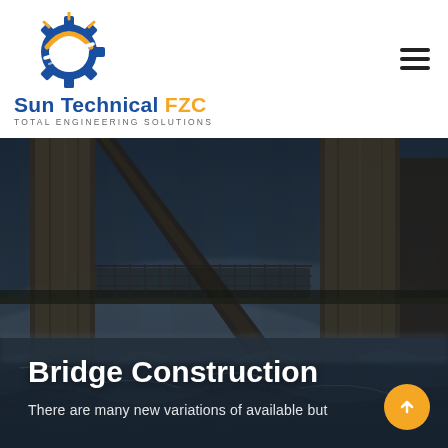[Figure (logo): Sun Technical FZC logo with gear and sun icon, blue and orange colors, text reads 'Sun Technical FZC' and 'Total Engineering Solutions']
[Figure (photo): Dark moody photograph of a bridge construction scene with tall pillars and turbulent water below, misty atmospheric lighting]
Bridge Construction
There are many new variations of available but